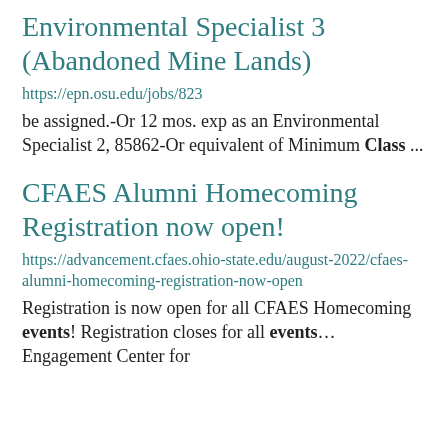Environmental Specialist 3 (Abandoned Mine Lands)
https://epn.osu.edu/jobs/823
be assigned.-Or 12 mos. exp as an Environmental Specialist 2, 85862-Or equivalent of Minimum Class ...
CFAES Alumni Homecoming Registration now open!
https://advancement.cfaes.ohio-state.edu/august-2022/cfaes-alumni-homecoming-registration-now-open
Registration is now open for all CFAES Homecoming events! Registration closes for all events... Engagement Center for